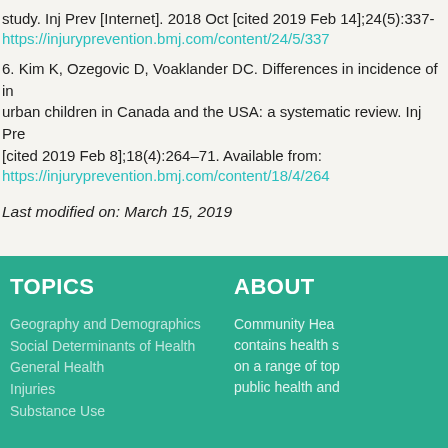study. Inj Prev [Internet]. 2018 Oct [cited 2019 Feb 14];24(5):337-
https://injuryprevention.bmj.com/content/24/5/337
6. Kim K, Ozegovic D, Voaklander DC. Differences in incidence of in urban children in Canada and the USA: a systematic review. Inj Pre [cited 2019 Feb 8];18(4):264–71. Available from:
https://injuryprevention.bmj.com/content/18/4/264
Last modified on: March 15, 2019
TOPICS
Geography and Demographics
Social Determinants of Health
General Health
Injuries
Substance Use
ABOUT
Community Hea contains health s on a range of top public health and